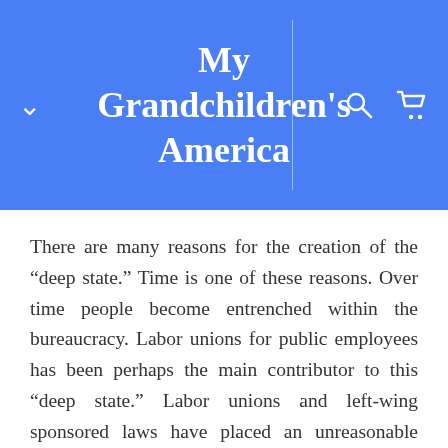My Grandchildren's America
There are many reasons for the creation of the “deep state.” Time is one of these reasons. Over time people become entrenched within the bureaucracy. Labor unions for public employees has been perhaps the main contributor to this “deep state.” Labor unions and left-wing sponsored laws have placed an unreasonable protection of employees who have been proven to be unproductive and deliberately work against directions to be released.